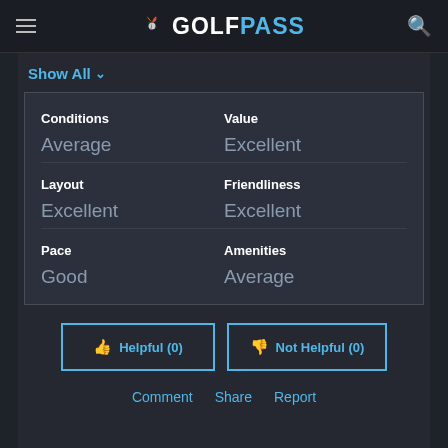GOLFPASS
Show All
| Category | Value |
| --- | --- |
| Conditions | Value |
| Average | Excellent |
| Layout | Friendliness |
| Excellent | Excellent |
| Pace | Amenities |
| Good | Average |
Helpful (0)
Not Helpful (0)
Comment  Share  Report